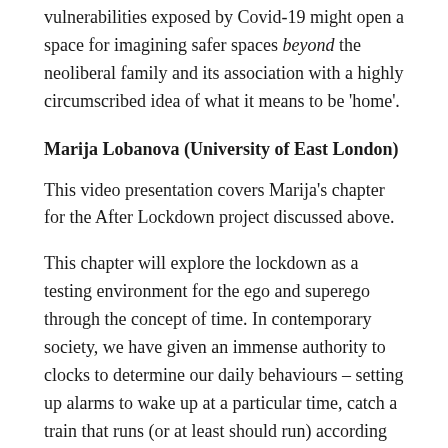vulnerabilities exposed by Covid-19 might open a space for imagining safer spaces beyond the neoliberal family and its association with a highly circumscribed idea of what it means to be 'home'.
Marija Lobanova (University of East London)
This video presentation covers Marija's chapter for the After Lockdown project discussed above.
This chapter will explore the lockdown as a testing environment for the ego and superego through the concept of time. In contemporary society, we have given an immense authority to clocks to determine our daily behaviours – setting up alarms to wake up at a particular time, catch a train that runs (or at least should run) according to a schedule, get to work/school/university on time, leave work when the